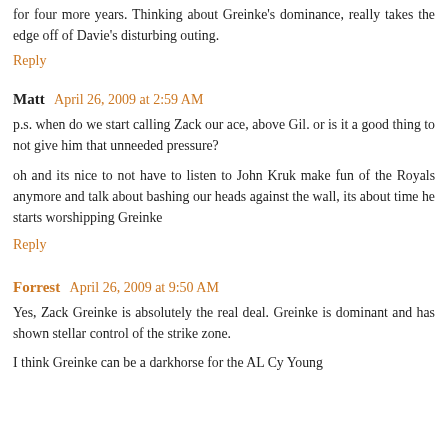for four more years. Thinking about Greinke's dominance, really takes the edge off of Davie's disturbing outing.
Reply
Matt  April 26, 2009 at 2:59 AM
p.s. when do we start calling Zack our ace, above Gil. or is it a good thing to not give him that unneeded pressure?
oh and its nice to not have to listen to John Kruk make fun of the Royals anymore and talk about bashing our heads against the wall, its about time he starts worshipping Greinke
Reply
Forrest  April 26, 2009 at 9:50 AM
Yes, Zack Greinke is absolutely the real deal. Greinke is dominant and has shown stellar control of the strike zone.
I think Greinke can be a darkhorse for the AL Cy Young